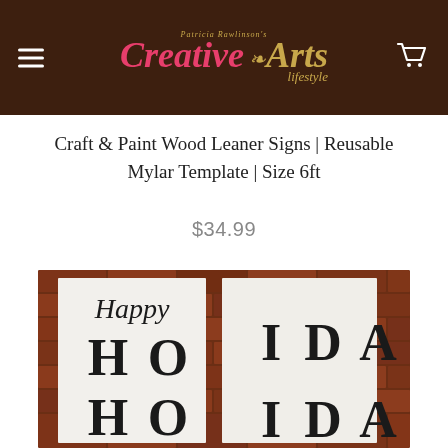Patricia Rawlinson's Creative Arts lifestyle — navigation header with logo, hamburger menu, and cart icon
Craft & Paint Wood Leaner Signs | Reusable Mylar Template | Size 6ft
$34.99
[Figure (photo): Two white stencil/mylar leaner sign templates leaning against a brick wall. Left template shows cursive 'Happy' at top with large block letters 'HO' below. Right template shows large block letters 'IDA' and below 'A'. The signs appear to spell out 'Happy Holidays' when combined.]